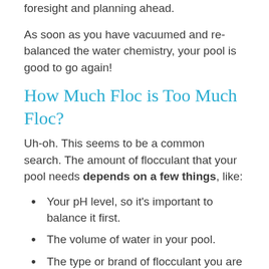foresight and planning ahead.
As soon as you have vacuumed and re-balanced the water chemistry, your pool is good to go again!
How Much Floc is Too Much Floc?
Uh-oh. This seems to be a common search. The amount of flocculant that your pool needs depends on a few things, like:
Your pH level, so it's important to balance it first.
The volume of water in your pool.
The type or brand of flocculant you are using.